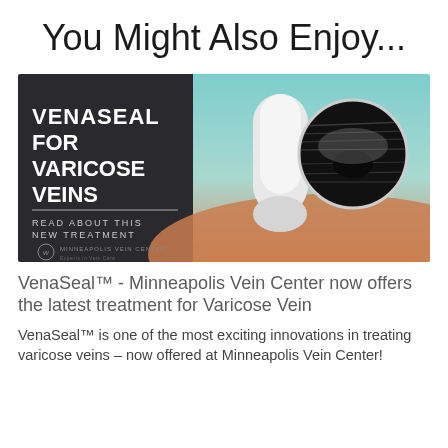You Might Also Enjoy...
[Figure (photo): Medical promotional image for VenaSeal treatment for varicose veins. Left panel is dark with white text reading 'VENASEAL FOR VARICOSE VEINS' and 'READ ABOUT THIS NEW TREATMENT' with Minneapolis Vein Center logo. Right panel shows a medical ultrasound device and skin with an ultrasound image inset showing a vein cross-section.]
VenaSeal™ - Minneapolis Vein Center now offers the latest treatment for Varicose Vein
VenaSeal™ is one of the most exciting innovations in treating varicose veins – now offered at Minneapolis Vein Center!